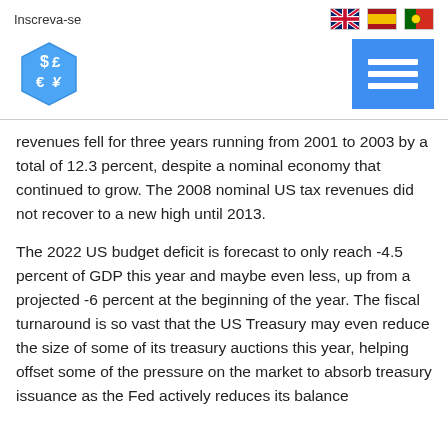Inscreva-se
[Figure (logo): Blue hexagonal dice icon with currency symbols: $, £, €]
[Figure (other): Blue menu/hamburger button with three white horizontal lines]
revenues fell for three years running from 2001 to 2003 by a total of 12.3 percent, despite a nominal economy that continued to grow. The 2008 nominal US tax revenues did not recover to a new high until 2013.
The 2022 US budget deficit is forecast to only reach -4.5 percent of GDP this year and maybe even less, up from a projected -6 percent at the beginning of the year. The fiscal turnaround is so vast that the US Treasury may even reduce the size of some of its treasury auctions this year, helping offset some of the pressure on the market to absorb treasury issuance as the Fed actively reduces its balance